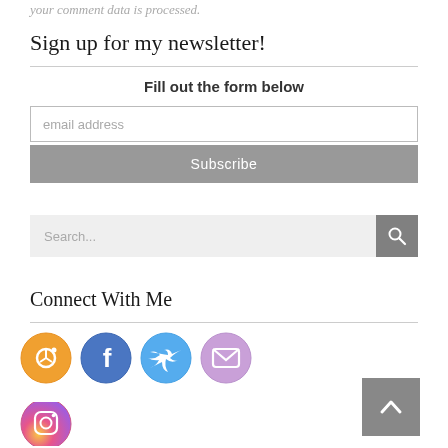your comment data is processed.
Sign up for my newsletter!
Fill out the form below
email address
Subscribe
Search...
Connect With Me
[Figure (illustration): Row of social media icons: RSS (orange), Facebook (blue), Twitter (light blue), Email (purple/lavender), and Instagram (pink/purple gradient) circles with white icons]
[Figure (illustration): Back to top button: grey square with white upward-pointing chevron arrow]